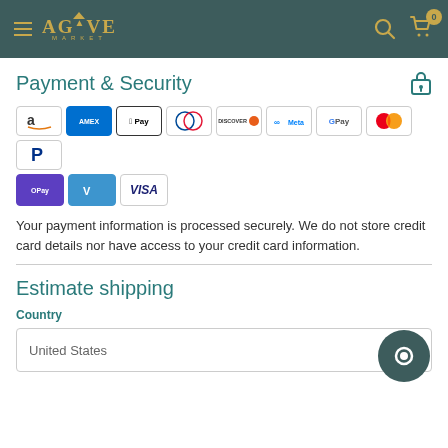Agave Market — navigation header
Payment & Security
[Figure (infographic): Payment method icons: Amazon, Amex, Apple Pay, Diners, Discover, Meta, Google Pay, Mastercard, PayPal, OPay, Venmo, Visa]
Your payment information is processed securely. We do not store credit card details nor have access to your credit card information.
Estimate shipping
Country
United States